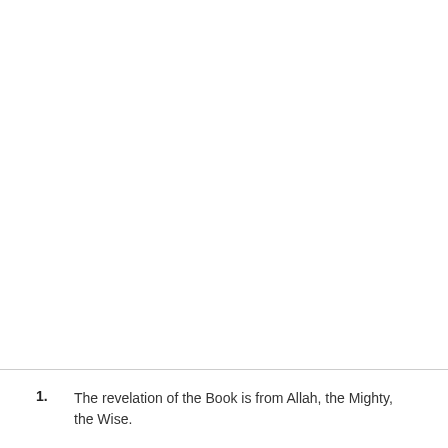1. The revelation of the Book is from Allah, the Mighty, the Wise.